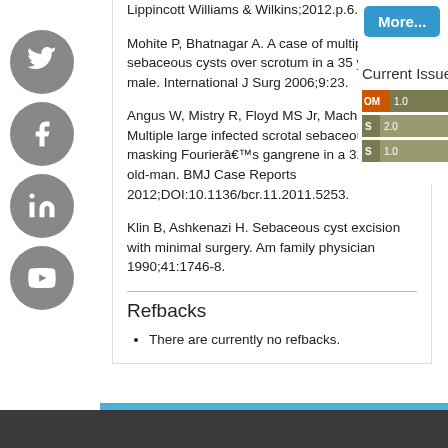Lippincott Williams & Wilkins;2012.p.6.
Mohite P, Bhatnagar A. A case of multiple sebaceous cysts over scrotum in a 35 years old male. International J Surg 2006;9:23.
Angus W, Mistry R, Floyd MS Jr, Machin DG. Multiple large infected scrotal sebaceous cysts masking Fournierâ€™s gangrene in a 32year-old-man. BMJ Case Reports 2012;DOI:10.1136/bcr.11.2011.5253.
Klin B, Ashkenazi H. Sebaceous cyst excision with minimal surgery. Am family physician 1990;41:1746-8.
Refbacks
There are currently no refbacks.
[Figure (other): More... button in blue]
Current Issue
[Figure (infographic): Metric bars showing OM 1.0, S 2.0, S 1.0]